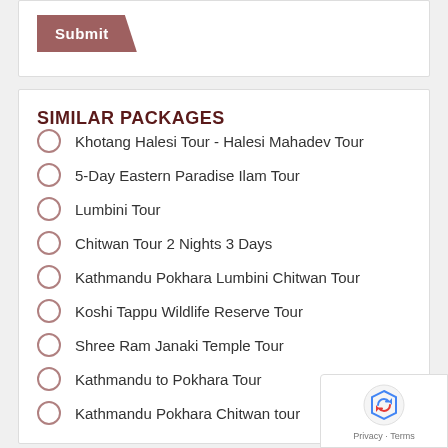[Figure (other): Submit button with parallelogram/trapezoid shape in brownish-red color]
SIMILAR PACKAGES
Khotang Halesi Tour - Halesi Mahadev Tour
5-Day Eastern Paradise Ilam Tour
Lumbini Tour
Chitwan Tour 2 Nights 3 Days
Kathmandu Pokhara Lumbini Chitwan Tour
Koshi Tappu Wildlife Reserve Tour
Shree Ram Janaki Temple Tour
Kathmandu to Pokhara Tour
Kathmandu Pokhara Chitwan tour